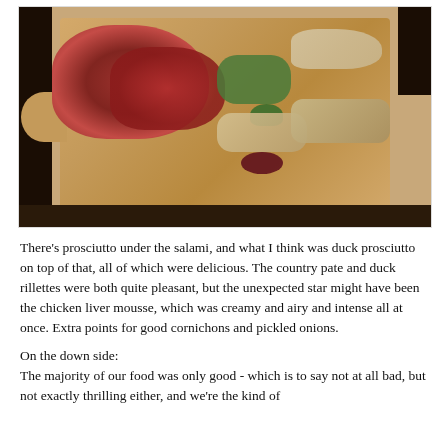[Figure (photo): A wooden charcuterie board with sliced salami, prosciutto, duck pate, country pate with duck rillettes, cornichons, pickled onions, bread slices, and a dark sauce, photographed in a restaurant setting.]
There's prosciutto under the salami, and what I think was duck prosciutto on top of that, all of which were delicious. The country pate and duck rillettes were both quite pleasant, but the unexpected star might have been the chicken liver mousse, which was creamy and airy and intense all at once. Extra points for good cornichons and pickled onions.
On the down side:
The majority of our food was only good - which is to say not at all bad, but not exactly thrilling either, and we're the kind of